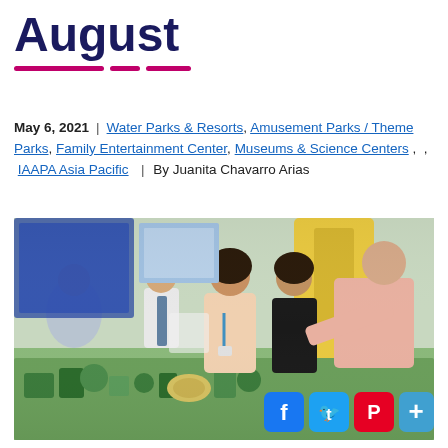August
May 6, 2021 | Water Parks & Resorts, Amusement Parks / Theme Parks, Family Entertainment Center, Museums & Science Centers , , IAAPA Asia Pacific | By Juanita Chavarro Arias
[Figure (photo): Conference expo floor scene showing a man in pink shirt leaning over a display table with green model landscape, two young women attendees with badges looking on, other conference attendees in background. Social media share buttons (Facebook, Twitter, Pinterest, plus) overlay the bottom-right corner.]